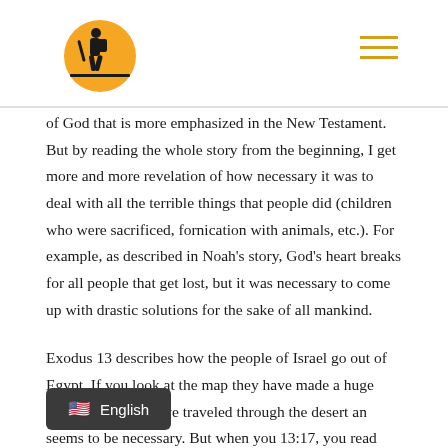[Logo: hiker silhouette on orange circle] [hamburger menu icon]
of God that is more emphasized in the New Testament. But by reading the whole story from the beginning, I get more and more revelation of how necessary it was to deal with all the terrible things that people did (children who were sacrificed, fornication with animals, etc.). For example, as described in Noah's story, God's heart breaks for all people that get lost, but it was necessary to come up with drastic solutions for the sake of all mankind.
Exodus 13 describes how the people of Israel go out of Egypt. If you look at the map they have made a huge detour, and they have traveled through the desert [an seems to be necessary. But when you 13:17, you read that God deliberately
English